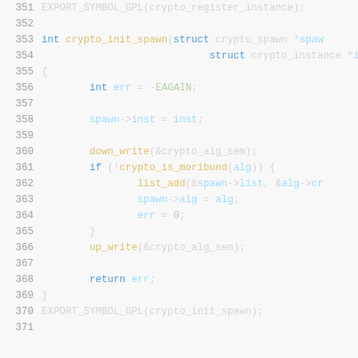Code listing lines 351-371: C source code showing crypto_register_instance export and crypto_init_spawn function implementation